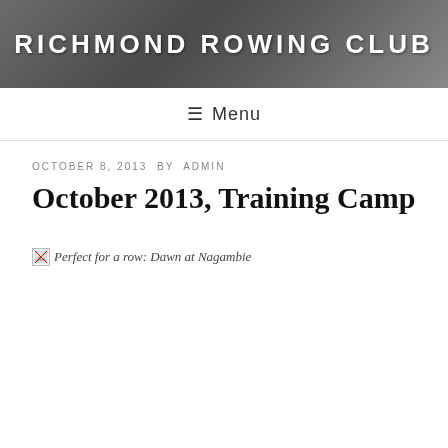RICHMOND ROWING CLUB
Menu
OCTOBER 8, 2013 BY ADMIN
October 2013, Training Camp
[Figure (photo): Broken image placeholder with italic alt text: Perfect for a row: Dawn at Nagambie]